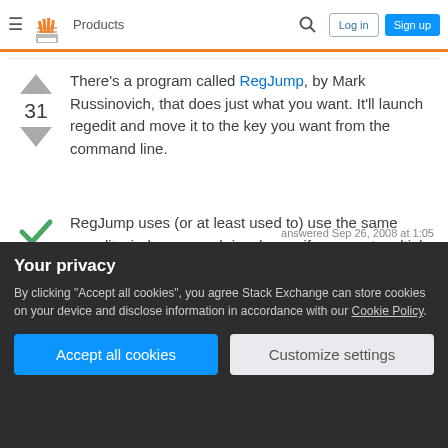≡ [Stack Overflow logo] Products 🔍 Log in Sign up
There's a program called RegJump, by Mark Russinovich, that does just what you want. It'll launch regedit and move it to the key you want from the command line.
RegJump uses (or at least used to) use the same regedit window on each invoke, so if you want multiple regedit sessions open, you'll still have to do things the old fashioned way for all but the one RegJump has adopted. A minor caveat, but one to
Your privacy
By clicking "Accept all cookies", you agree Stack Exchange can store cookies on your device and disclose information in accordance with our Cookie Policy.
Accept all cookies  Customize settings
answered Sep 26, 2008 at 1:05